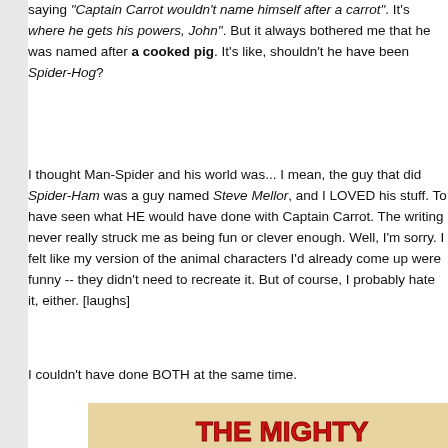saying "Captain Carrot wouldn't name himself after a carrot". It's where he gets his powers, John". But it always bothered me that he was named after a cooked pig. It's like, shouldn't he have been Spider-Hog?
I thought Man-Spider and his world was... I mean, the guy that did Spider-Ham was a guy named Steve Mellor, and I LOVED his stuff. To have seen what HE would have done with Captain Carrot. The writing never really struck me as being fun or clever enough. Well, I'm sorry. I felt like my version of the animal characters I'd already come up were funny -- they didn't need to recreate it. But of course, I probably hate it, either. [laughs]
I couldn't have done BOTH at the same time.
[Figure (illustration): Comic book cover or splash page for 'The Mighty Scavengers' showing cartoon animal characters. Title reads 'THE MIGHTY SCAVENGERS' in large red letters. Speech bubble says 'HORS D'OEUVRES, ANYONE?' and there is text 'SCAV... ASSE...' in a starburst. Characters include a dog-like character, a duck, and other animals.]